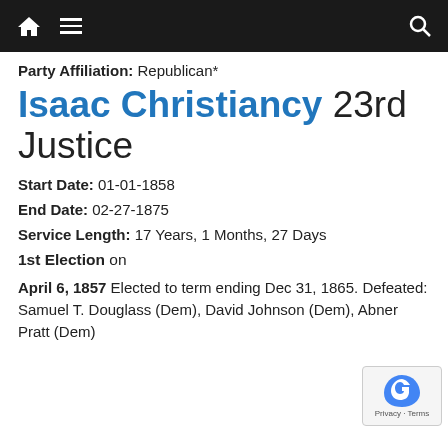Home | Menu | Search navigation bar
Party Affiliation: Republican*
Isaac Christiancy 23rd Justice
Start Date: 01-01-1858
End Date: 02-27-1875
Service Length: 17 Years, 1 Months, 27 Days
1st Election on
April 6, 1857 Elected to term ending Dec 31, 1865. Defeated: Samuel T. Douglass (Dem), David Johnson (Dem), Abner Pratt (Dem)